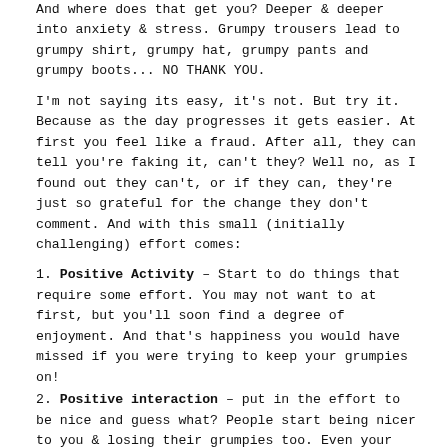And where does that get you? Deeper & deeper into anxiety & stress. Grumpy trousers lead to grumpy shirt, grumpy hat, grumpy pants and grumpy boots... NO THANK YOU.
I'm not saying its easy, it's not. But try it. Because as the day progresses it gets easier. At first you feel like a fraud. After all, they can tell you're faking it, can't they? Well no, as I found out they can't, or if they can, they're just so grateful for the change they don't comment. And with this small (initially challenging) effort comes:
1. Positive Activity – Start to do things that require some effort. You may not want to at first, but you'll soon find a degree of enjoyment. And that's happiness you would have missed if you were trying to keep your grumpies on!
2. Positive interaction – put in the effort to be nice and guess what? People start being nicer to you & losing their grumpies too. Even your little people get a bit nicer!
3. Positive thinking – this is the hardest one. But with your grumpies loosening, this will naturally start to invade your brain space. Even if you don't want to admit it at first, you ARE starting to think more positively.